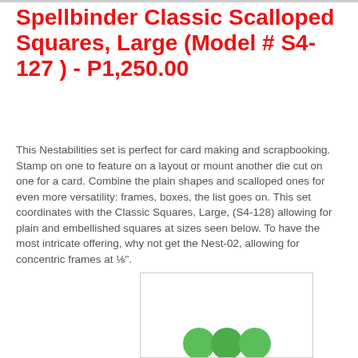Spellbinder Classic Scalloped Squares, Large (Model # S4-127 ) - P1,250.00
This Nestabilities set is perfect for card making and scrapbooking. Stamp on one to feature on a layout or mount another die cut on one for a card. Combine the plain shapes and scalloped ones for even more versatility: frames, boxes, the list goes on. This set coordinates with the Classic Squares, Large, (S4-128) allowing for plain and embellished squares at sizes seen below. To have the most intricate offering, why not get the Nest-02, allowing for concentric frames at ⅛".
[Figure (photo): Partial product image with green circular decorative elements at the bottom]